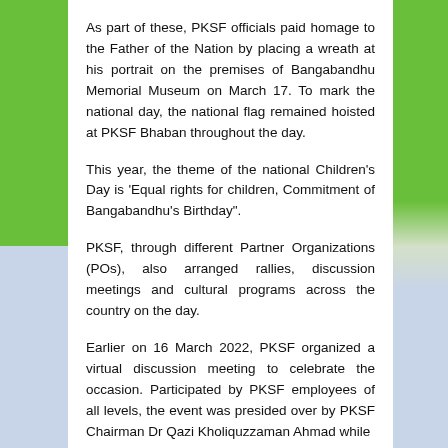As part of these, PKSF officials paid homage to the Father of the Nation by placing a wreath at his portrait on the premises of Bangabandhu Memorial Museum on March 17. To mark the national day, the national flag remained hoisted at PKSF Bhaban throughout the day.
This year, the theme of the national Children’s Day is ‘Equal rights for children, Commitment of Bangabandhu’s Birthday”.
PKSF, through different Partner Organizations (POs), also arranged rallies, discussion meetings and cultural programs across the country on the day.
Earlier on 16 March 2022, PKSF organized a virtual discussion meeting to celebrate the occasion. Participated by PKSF employees of all levels, the event was presided over by PKSF Chairman Dr Qazi Kholiquzzaman Ahmad while